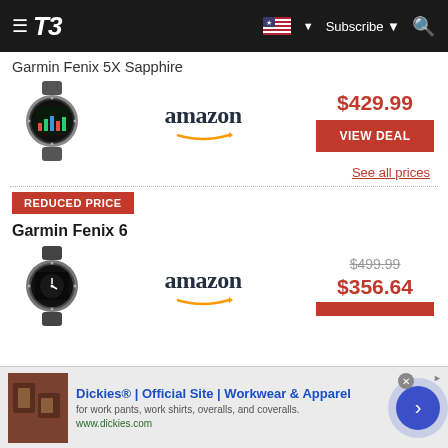T3 – Subscribe
Garmin Fenix 5X Sapphire
[Figure (photo): Garmin Fenix 5X Sapphire smartwatch product image]
[Figure (logo): Amazon retailer logo with arrow]
$429.99
VIEW DEAL
See all prices
REDUCED PRICE
Garmin Fenix 6
[Figure (photo): Garmin Fenix 6 smartwatch product image]
[Figure (logo): Amazon retailer logo with arrow]
$499.99 $356.64
[Figure (infographic): Dickies advertisement banner – Dickies® | Official Site | Workwear & Apparel]